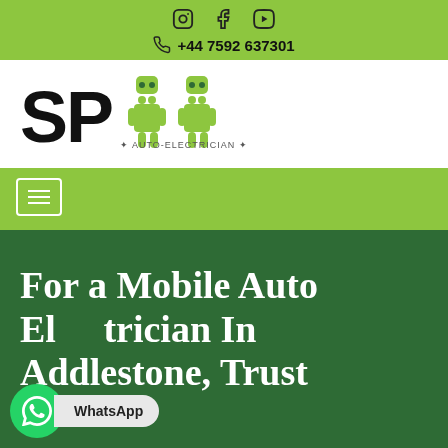Social icons: Instagram, Facebook, YouTube | +44 7592 637301
[Figure (logo): SP Auto-Electrician & Mobile Mechanic logo — bold black SP letters with green robot/person figures, tagline AUTO-ELECTRICIAN & MOBILE MECHANIC]
[Figure (other): Green navigation bar with hamburger menu button]
For a Mobile Auto Electrician In Addlestone, Trust
[Figure (other): WhatsApp floating button with label]